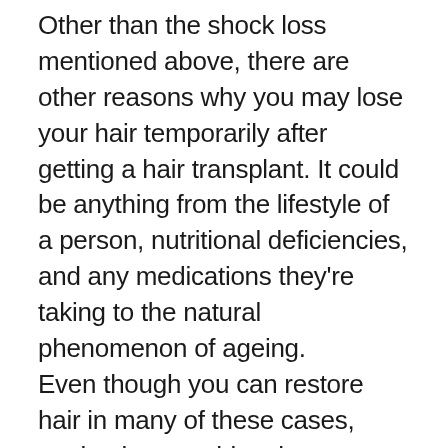Other than the shock loss mentioned above, there are other reasons why you may lose your hair temporarily after getting a hair transplant. It could be anything from the lifestyle of a person, nutritional deficiencies, and any medications they're taking to the natural phenomenon of ageing.
Even though you can restore hair in many of these cases, ageing is something that causes hair thinning over time. It won't make you lose your hair permanently, though. Nor will you end up with a pattern on your head because of androgenetic alopecia. Still, you should have realistic expectations from hair transplant surgery. It won't just stop every